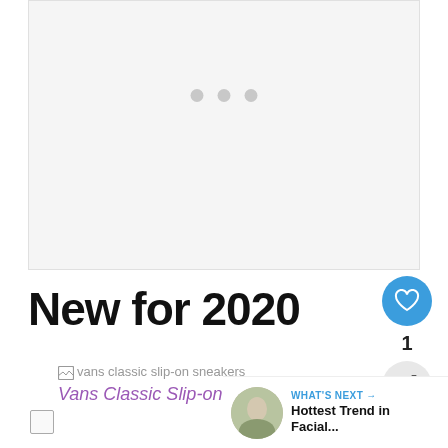[Figure (photo): Large light gray image placeholder area at the top of the page with three gray dots indicating a carousel/slideshow]
New for 2020
[Figure (photo): Broken image placeholder labeled 'vans classic slip-on sneakers']
Vans Classic Slip-on Sneaker, $49.95
[Figure (infographic): Right side UI: heart/like button showing count of 1, and a share button]
WHAT'S NEXT → Hottest Trend in Facial...